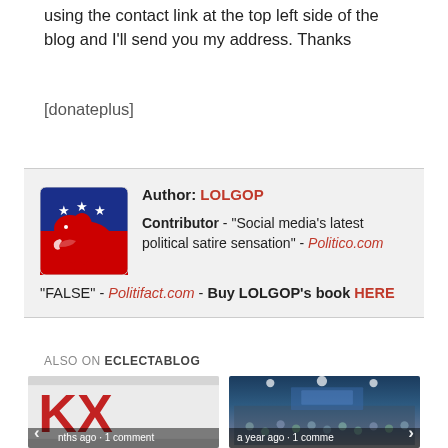using the contact link at the top left side of the blog and I'll send you my address. Thanks
[donateplus]
Author: LOLGOP
Contributor - "Social media's latest political satire sensation" - Politico.com
"FALSE" - Politifact.com - Buy LOLGOP's book HERE
ALSO ON ECLECTABLOG
[Figure (photo): Left thumbnail: red and white graphic with 'nths ago · 1 comment' caption overlay]
[Figure (photo): Right thumbnail: crowd photo in auditorium with 'a year ago · 1 comme' caption overlay]